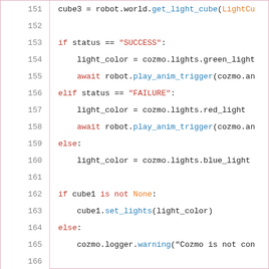[Figure (screenshot): Python source code viewer showing lines 151-169 with syntax highlighting. Line numbers in left column, code in right column. Keywords in red, function/method names in blue, class names in orange.]